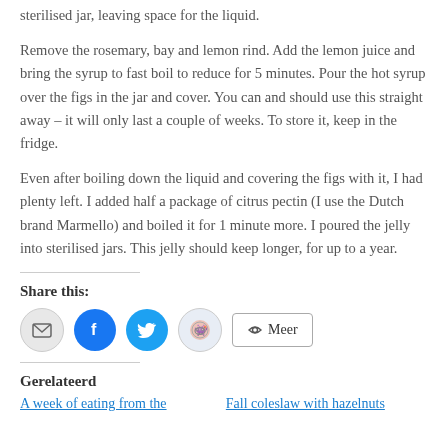sterilised jar, leaving space for the liquid.
Remove the rosemary, bay and lemon rind. Add the lemon juice and bring the syrup to fast boil to reduce for 5 minutes. Pour the hot syrup over the figs in the jar and cover. You can and should use this straight away – it will only last a couple of weeks. To store it, keep in the fridge.
Even after boiling down the liquid and covering the figs with it, I had plenty left. I added half a package of citrus pectin (I use the Dutch brand Marmello) and boiled it for 1 minute more. I poured the jelly into sterilised jars. This jelly should keep longer, for up to a year.
Share this:
[Figure (infographic): Social share buttons: email (grey circle), Facebook (blue circle), Twitter (blue circle), Reddit (light blue circle), Meer button]
Gerelateerd
A week of eating from the
Fall coleslaw with hazelnuts